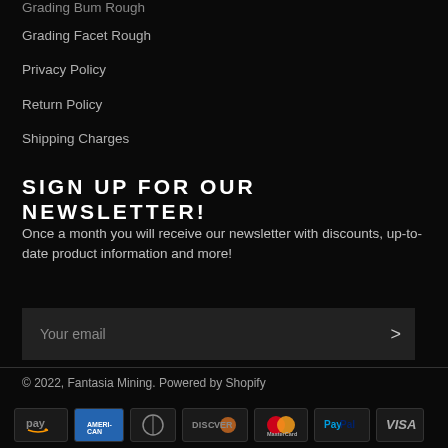Grading Bum Rough
Grading Facet Rough
Privacy Policy
Return Policy
Shipping Charges
SIGN UP FOR OUR NEWSLETTER!
Once a month you will receive our newsletter with discounts, up-to-date product information and more!
Your email
© 2022, Fantasia Mining. Powered by Shopify